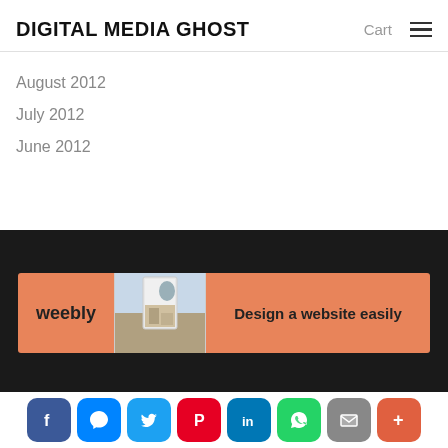DIGITAL MEDIA GHOST
August 2012
July 2012
June 2012
[Figure (other): Weebly advertisement banner with logo, website mockup image, and tagline 'Design a website easily' on salmon/orange background]
Digital Media Strategy
[Figure (other): Social sharing bar with icons for Facebook, Messenger, Twitter, Pinterest, LinkedIn, WhatsApp, Email, and More]